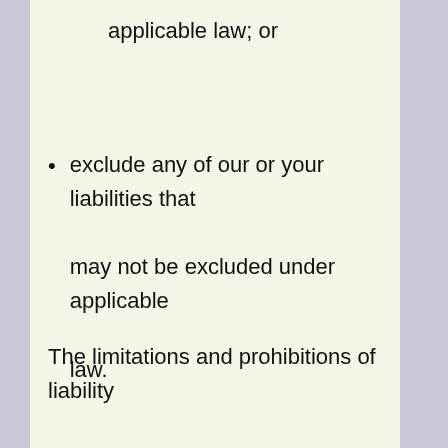applicable law; or
exclude any of our or your liabilities that may not be excluded under applicable law.
The limitations and prohibitions of liability set in this Section and elsewhere in this disclaimer: (a) are subject to the preceding paragraph; and (b) govern all liabilities arising under the disclaimer,